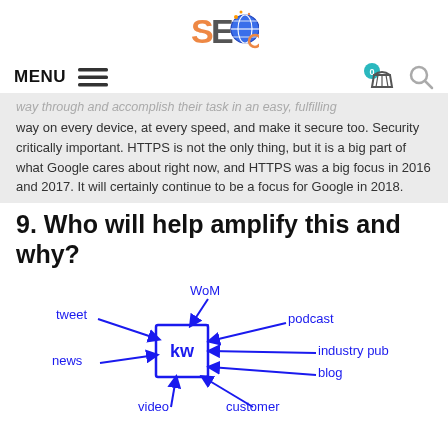SEO [logo]
MENU [hamburger icon] [cart icon with 0] [search icon]
way through and accomplish their task in an easy, fulfilling way on every device, at every speed, and make it secure too. Security critically important. HTTPS is not the only thing, but it is a big part of what Google cares about right now, and HTTPS was a big focus in 2016 and 2017. It will certainly continue to be a focus for Google in 2018.
9. Who will help amplify this and why?
[Figure (illustration): Hand-drawn diagram showing a central box labeled 'kw' with arrows pointing to and from it. Labels around it include: tweet (upper left, arrow pointing to box), WoM (upper middle, arrow pointing to box), podcast (upper right, arrow pointing to box), industry pub (right, arrow pointing to box), blog (right-lower, arrow pointing to box), customer (lower middle, arrow pointing to box), video (lower left, arrow pointing up to box), news (left, arrow pointing right to box).]